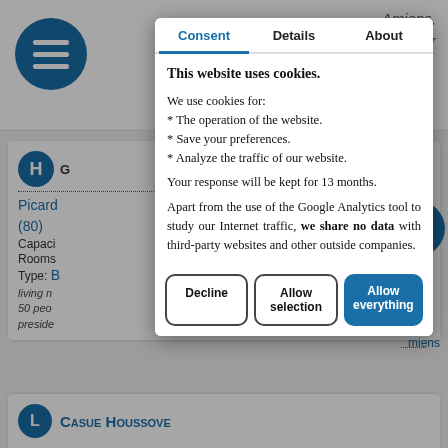[Figure (screenshot): Background webpage showing hotel listing with navigation menu icon, partial text 'Amiens,' and 'or your', a card with H icon, links to Picard (80), capacity, rooms, type info, and italic description text about living space for 50 people.]
Consent | Details | About
This website uses cookies.
We use cookies for:
* The operation of the website.
* Save your preferences.
* Analyze the traffic of our website.
Your response will be kept for 13 months.
Apart from the use of the Google Analytics tool to study our Internet traffic, we share no data with third-party websites and other outside companies.
Decline | Allow selection | Allow everything